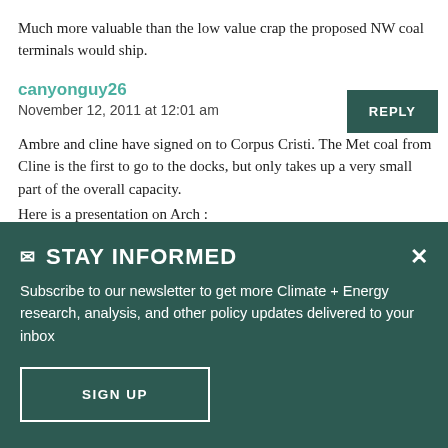Much more valuable than the low value crap the proposed NW coal terminals would ship.
canyonguy26
November 12, 2011 at 12:01 am
REPLY
Ambre and cline have signed on to Corpus Cristi. The Met coal from Cline is the first to go to the docks, but only takes up a very small part of the overall capacity.
Here is a presentation on Arch :
STAY INFORMED
Subscribe to our newsletter to get more Climate + Energy research, analysis, and other policy updates delivered to your inbox
SIGN UP